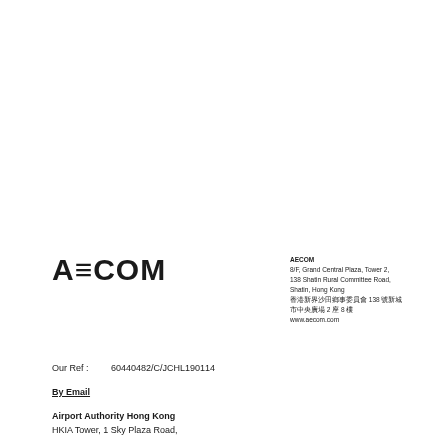[Figure (logo): AECOM company logo in bold black text with stylized A]
AECOM
8/F, Grand Central Plaza, Tower 2,
138 Shatin Rural Committee Road,
Shatin, Hong Kong
香港新界沙田鄉事委員會 138 號新城市中央廣場 2 座 8 樓
www.aecom.com
Our Ref :    60440482/C/JCHL190114
By Email
Airport Authority Hong Kong
HKIA Tower, 1 Sky Plaza Road,